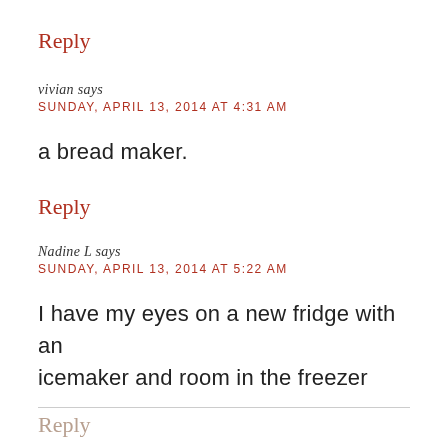Reply
vivian says
SUNDAY, APRIL 13, 2014 AT 4:31 AM
a bread maker.
Reply
Nadine L says
SUNDAY, APRIL 13, 2014 AT 5:22 AM
I have my eyes on a new fridge with an icemaker and room in the freezer
Reply